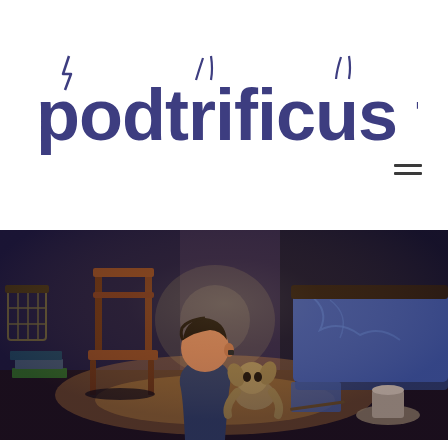[Figure (logo): Podtrificus Totalus podcast logo in dark blue/purple bold lowercase text with lightning bolt and bunny ear decorative marks above letters]
[Figure (illustration): Digital illustration showing a boy viewed from behind, crouching near a small creature (resembling a house elf/Dobby), in a dimly lit bedroom with a wooden chair, books, bed with blue sheets, and a lamp on the floor. Warm light source from center illuminates the scene.]